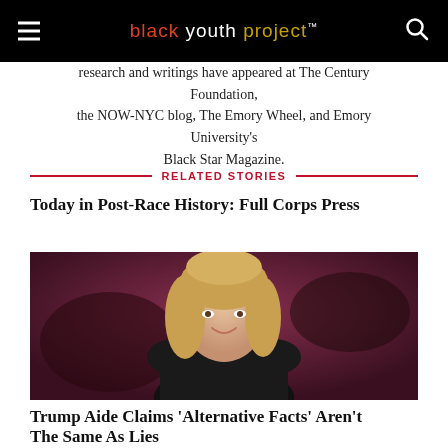black youth project™
research and writings have appeared at The Century Foundation, the NOW-NYC blog, The Emory Wheel, and Emory University's Black Star Magazine.
RELATED STORIES
Today in Post-Race History: Full Corps Press
[Figure (photo): Photo of a blonde woman in a black dress smiling, against a red blurred background]
Trump Aide Claims 'Alternative Facts' Aren't The Same As Lies